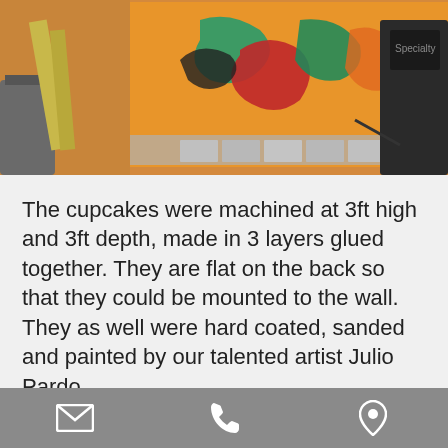[Figure (photo): Workshop photo showing colorful painted cupcake art pieces with orange, teal, and red designs on a bright orange/yellow background, in what appears to be a fabrication shop.]
The cupcakes were machined at 3ft high and 3ft depth, made in 3 layers glued together. They are flat on the back so that they could be mounted to the wall. They as well were hard coated, sanded and painted by our talented artist Julio Pardo
[Figure (photo): Photo of a colorful sculptural character or prop, white with orange, green, and other colored circular and pointed elements, photographed from below against a ceiling in a large space.]
[Figure (other): Bottom navigation bar with email icon, phone icon, and location/map pin icon on a gray background.]